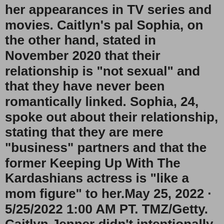her appearances in TV series and movies. Caitlyn's pal Sophia, on the other hand, stated in November 2020 that their relationship is "not sexual" and that they have never been romantically linked. Sophia, 24, spoke out about their relationship, stating that they are mere "business" partners and that the former Keeping Up With The Kardashians actress is "like a mom figure" to her.May 25, 2022 · 5/25/2022 1:00 AM PT. TMZ/Getty. Caitlyn Jenner didn't intentionally skip out on Kourtney Kardashian and Travis Barker 's wedding, fact is, she just wasn't on the guestlist ... TMZ has learned ... May 26, 2022 · Kourtney Kardashian and Travis Barker had a lavish and emotional wedding in Italy over the weekend. Many family members were in attendance, including Kim Kardashian, Kylie Jenner, and Khloé Kardashian. All of Travis Barker's children were present for the big moment. A long list of high-profile celebrities, such as Beyoncé, traveled to Europe to witness […] Apr 07, 2022 · April 6, 2022, 10:28 PM. Caitlyn Jenner is opening up about Kim Kardashian's romance with